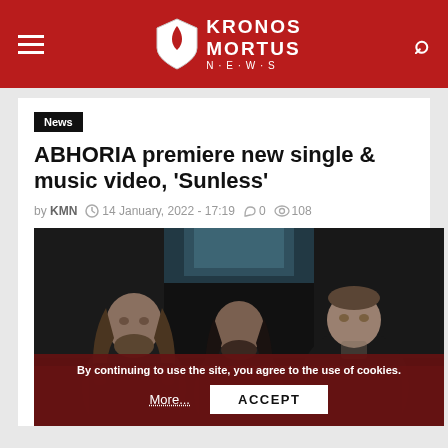Kronos Mortus News
News
ABHORIA premiere new single & music video, 'Sunless'
by KMN  14 January, 2022 - 17:19  0  108
[Figure (photo): Band photo of ABHORIA - three members standing in a dark room with a skylight, wearing black clothing]
By continuing to use the site, you agree to the use of cookies. More... ACCEPT